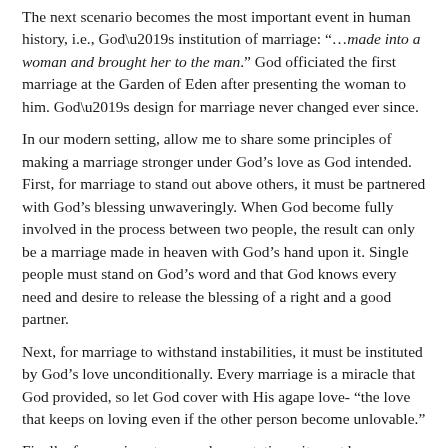The next scenario becomes the most important event in human history, i.e., God’s institution of marriage: “…made into a woman and brought her to the man.” God officiated the first marriage at the Garden of Eden after presenting the woman to him. God’s design for marriage never changed ever since.
In our modern setting, allow me to share some principles of making a marriage stronger under God’s love as God intended. First, for marriage to stand out above others, it must be partnered with God’s blessing unwaveringly. When God become fully involved in the process between two people, the result can only be a marriage made in heaven with God’s hand upon it. Single people must stand on God’s word and that God knows every need and desire to release the blessing of a right and a good partner.
Next, for marriage to withstand instabilities, it must be instituted by God’s love unconditionally. Every marriage is a miracle that God provided, so let God cover with His agape love- “the love that keeps on loving even if the other person become unlovable.”
Finally, for marriage to exceed expectations, it must be supported by God’s power unceasingly. “Let no man put you asunder, as God supports it” must become the guiding principle of every Christian marriage. Michael Ventura shared, “Marriage is a journey toward an unknown destination -- the discovery that